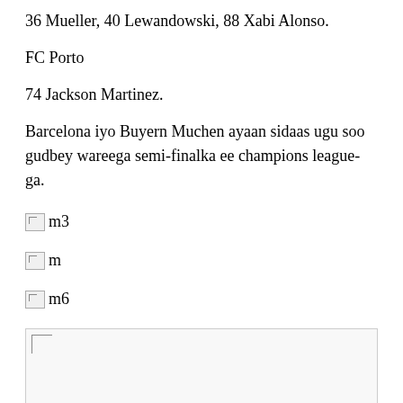36 Mueller, 40 Lewandowski, 88 Xabi Alonso.
FC Porto
74 Jackson Martinez.
Barcelona iyo Buyern Muchen ayaan sidaas ugu soo gudbey wareega semi-finalka ee champions league-ga.
[Figure (photo): Broken image placeholder labeled m3]
[Figure (photo): Broken image placeholder labeled m]
[Figure (photo): Broken image placeholder labeled m6]
[Figure (photo): Large broken image placeholder]